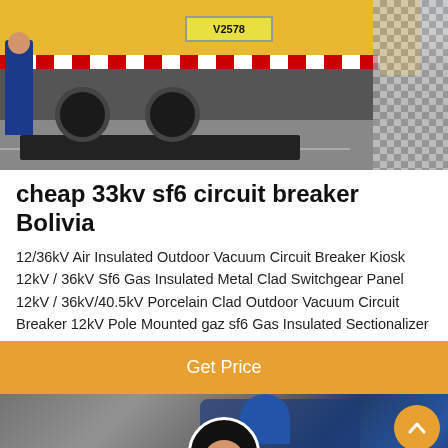[Figure (photo): Photo of a yellow truck (license plate V2578) being unloaded or parked, viewed from behind, with a person in blue standing to the left. Road surface visible, checkered pattern on right edge.]
cheap 33kv sf6 circuit breaker Bolivia
12/36kV Air Insulated Outdoor Vacuum Circuit Breaker Kiosk 12kV / 36kV Sf6 Gas Insulated Metal Clad Switchgear Panel 12kV / 36kV/40.5kV Porcelain Clad Outdoor Vacuum Circuit Breaker 12kV Pole Mounted gaz sf6 Gas Insulated Sectionalizer
Get Price
[Figure (photo): Photo of a worker in blue hard hat working on electrical or mechanical equipment, bottom portion of page. Semi-transparent dark bottom bar with Leave Message and Chat Online buttons and a female customer service avatar in the center.]
Leave Message
Chat Online